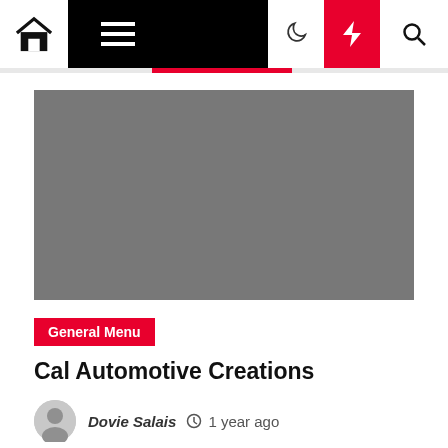Navigation bar with home, menu, moon, lightning, search icons
[Figure (photo): Gray placeholder image for article thumbnail]
General Menu
Cal Automotive Creations
Dovie Salais  1 year ago